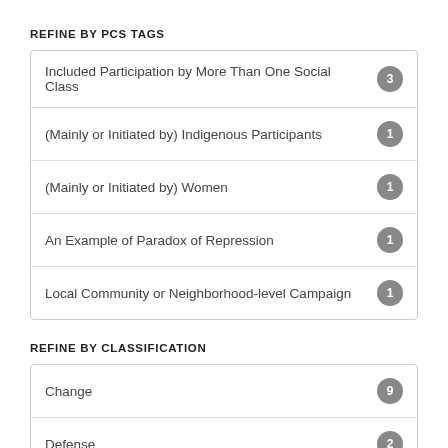REFINE BY PCS TAGS
Included Participation by More Than One Social Class 3
(Mainly or Initiated by) Indigenous Participants 1
(Mainly or Initiated by) Women 1
An Example of Paradox of Repression 1
Local Community or Neighborhood-level Campaign 1
REFINE BY CLASSIFICATION
Change 9
Defense 2